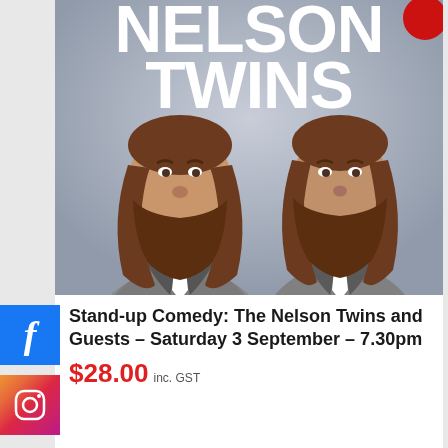[Figure (photo): Promotional poster for The Nelson Twins stand-up comedy show. Features two bearded men with long brown hair wearing suits, against a grey background with large white bold text reading 'NELSON TWINS'. A red circle is visible in the top right corner.]
Stand-up Comedy: The Nelson Twins and Guests – Saturday 3 September – 7.30pm
$28.00 inc. GST